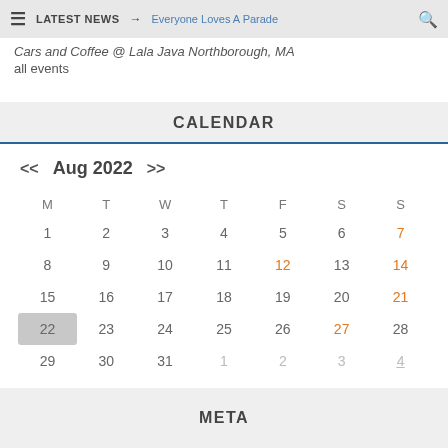≡  LATEST NEWS →  Everyone Loves A Parade  🔍
Cars and Coffee @ Lala Java Northborough, MA
all events
CALENDAR
| M | T | W | T | F | S | S |
| --- | --- | --- | --- | --- | --- | --- |
| 1 | 2 | 3 | 4 | 5 | 6 | 7 |
| 8 | 9 | 10 | 11 | 12 | 13 | 14 |
| 15 | 16 | 17 | 18 | 19 | 20 | 21 |
| 22 | 23 | 24 | 25 | 26 | 27 | 28 |
| 29 | 30 | 31 | 1 | 2 | 3 | 4 |
META